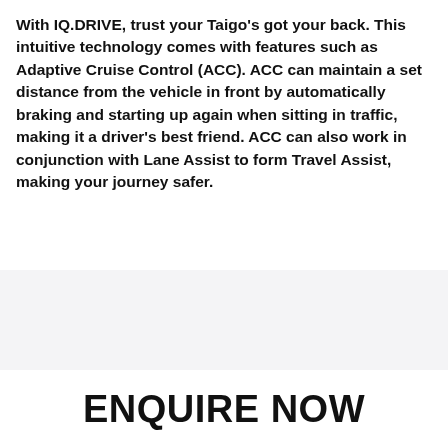With IQ.DRIVE, trust your Taigo's got your back. This intuitive technology comes with features such as Adaptive Cruise Control (ACC). ACC can maintain a set distance from the vehicle in front by automatically braking and starting up again when sitting in traffic, making it a driver's best friend. ACC can also work in conjunction with Lane Assist to form Travel Assist, making your journey safer.
ENQUIRE NOW